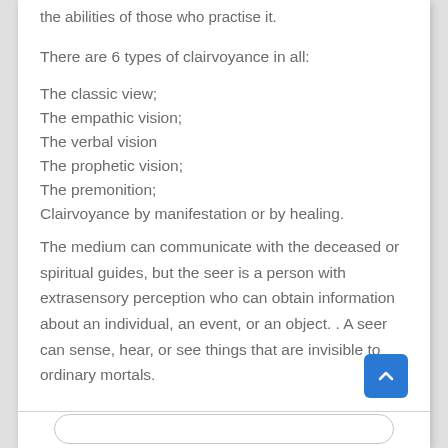the abilities of those who practise it.
There are 6 types of clairvoyance in all:
The classic view;
The empathic vision;
The verbal vision
The prophetic vision;
The premonition;
Clairvoyance by manifestation or by healing.
The medium can communicate with the deceased or spiritual guides, but the seer is a person with extrasensory perception who can obtain information about an individual, an event, or an object. . A seer can sense, hear, or see things that are invisible to ordinary mortals.